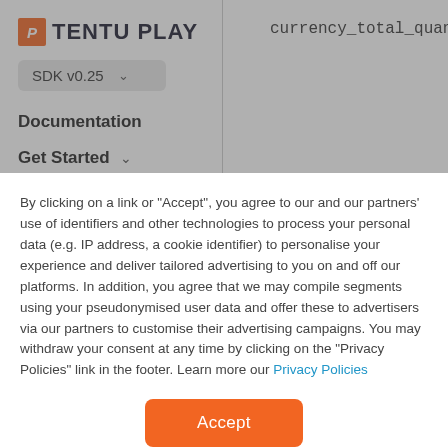[Figure (logo): TentuPlay logo with orange square icon and bold uppercase text]
SDK v0.25
currency_total_quantity
Documentation
Get Started
By clicking on a link or "Accept", you agree to our and our partners' use of identifiers and other technologies to process your personal data (e.g. IP address, a cookie identifier) to personalise your experience and deliver tailored advertising to you on and off our platforms. In addition, you agree that we may compile segments using your pseudonymised user data and offer these to advertisers via our partners to customise their advertising campaigns. You may withdraw your consent at any time by clicking on the "Privacy Policies" link in the footer. Learn more our Privacy Policies
Accept